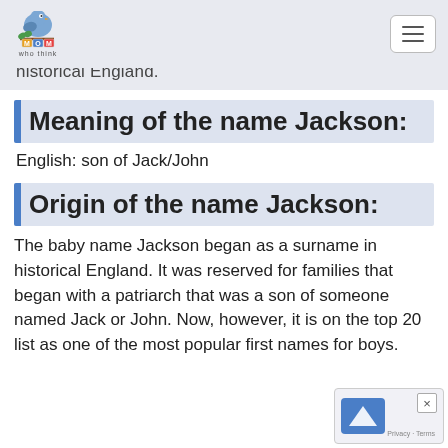Moms Who Think logo and navigation menu
historical England.
Meaning of the name Jackson:
English: son of Jack/John
Origin of the name Jackson:
The baby name Jackson began as a surname in historical England. It was reserved for families that began with a patriarch that was a son of someone named Jack or John. Now, however, it is on the top 20 list as one of the most popular first names for boys.